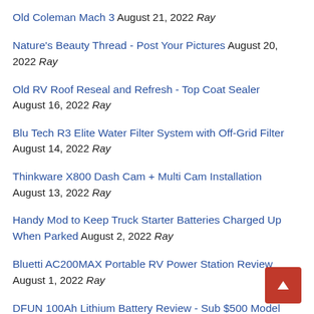Old Coleman Mach 3 August 21, 2022 Ray
Nature's Beauty Thread - Post Your Pictures August 20, 2022 Ray
Old RV Roof Reseal and Refresh - Top Coat Sealer August 16, 2022 Ray
Blu Tech R3 Elite Water Filter System with Off-Grid Filter August 14, 2022 Ray
Thinkware X800 Dash Cam + Multi Cam Installation August 13, 2022 Ray
Handy Mod to Keep Truck Starter Batteries Charged Up When Parked August 2, 2022 Ray
Bluetti AC200MAX Portable RV Power Station Review August 1, 2022 Ray
DFUN 100Ah Lithium Battery Review - Sub $500 Model July 31, 2022 Ray